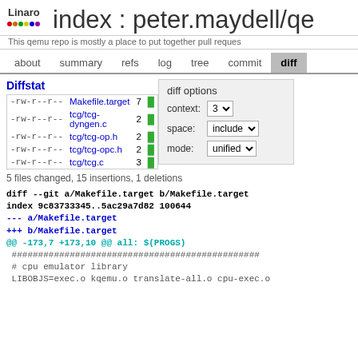index : peter.maydell/qe
This qemu repo is mostly a place to put together pull reques
about  summary  refs  log  tree  commit  diff
Diffstat
| permissions | filename | changes |
| --- | --- | --- |
| -rw-r--r-- | Makefile.target | 7 |
| -rw-r--r-- | tcg/tcg-dyngen.c | 2 |
| -rw-r--r-- | tcg/tcg-op.h | 2 |
| -rw-r--r-- | tcg/tcg-opc.h | 2 |
| -rw-r--r-- | tcg/tcg.c | 3 |
5 files changed, 15 insertions, 1 deletions
diff --git a/Makefile.target b/Makefile.target
index 9c83733345..5ac29a7d82 100644
--- a/Makefile.target
+++ b/Makefile.target
@@ -173,7 +173,10 @@ all: $(PROGS)
  ###############################################
  # cpu emulator library
  LIBOBJS=exec.o kqemu.o translate-all.o cpu-exec.o